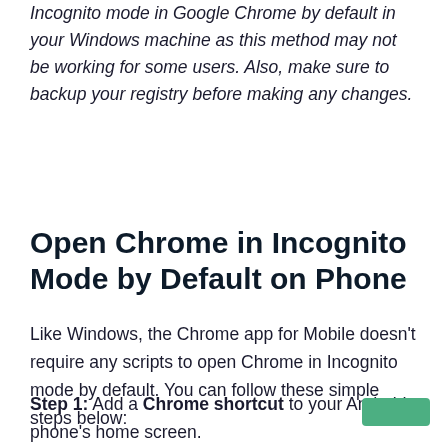Incognito mode in Google Chrome by default in your Windows machine as this method may not be working for some users. Also, make sure to backup your registry before making any changes.
Open Chrome in Incognito Mode by Default on Phone
Like Windows, the Chrome app for Mobile doesn't require any scripts to open Chrome in Incognito mode by default. You can follow these simple steps below:
Step 1: Add a Chrome shortcut to your Android phone's home screen.